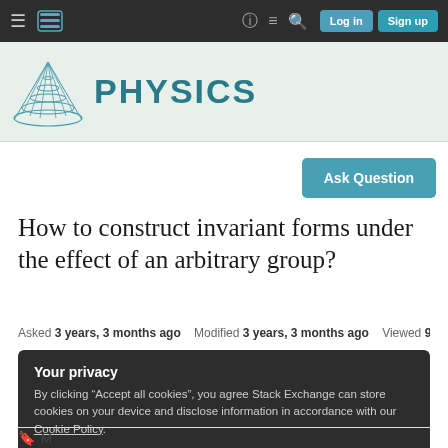Physics Stack Exchange — Log in | Sign up
[Figure (logo): Physics Stack Exchange logo with cone/lattice graphic and PHYSICS text in teal]
Ask Question
How to construct invariant forms under the effect of an arbitrary group?
Asked 3 years, 3 months ago   Modified 3 years, 3 months ago   Viewed 91 times
Your privacy
By clicking "Accept all cookies", you agree Stack Exchange can store cookies on your device and disclose information in accordance with our Cookie Policy.
Accept all cookies   Customize settings
M...